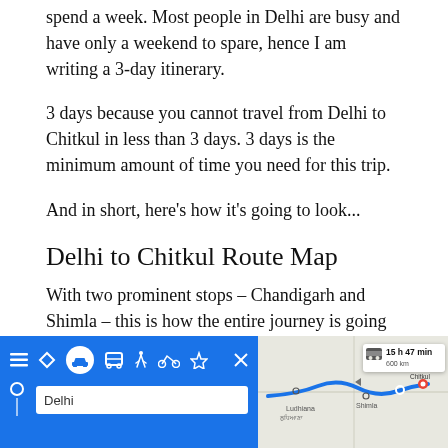spend a week. Most people in Delhi are busy and have only a weekend to spare, hence I am writing a 3-day itinerary.
3 days because you cannot travel from Delhi to Chitkul in less than 3 days. 3 days is the minimum amount of time you need for this trip.
And in short, here's how it's going to look...
Delhi to Chitkul Route Map
With two prominent stops – Chandigarh and Shimla – this is how the entire journey is going to look like. I have also marked Karcham in the map from where you will have to take Sangla road.
[Figure (screenshot): Google Maps screenshot showing route from Delhi to Chitkul with travel time of 15 h 47 min, 600 km. The left panel shows a blue sidebar with transport icons and Delhi as the origin. The right panel shows a map with the route passing through Ludhiana, Shimla, and ending at Chitkul.]